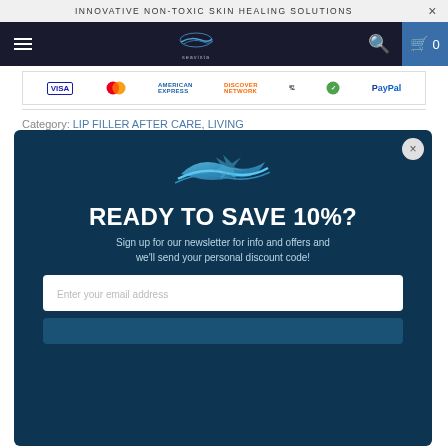INNOVATIVE NON-TOXIC SKIN HEALING SOLUTIONS
[Figure (screenshot): Navigation bar with hamburger menu, Seavista logo, search icon, and cart with 0 items]
[Figure (other): Payment icons: VISA, MasterCard, American Express, Discover Network, Stripe, SSL secure, PayPal]
Category: LIP FILLER AFTER CARE, LIVING WITH ECZEMA, MEDICINAL WONDERS OF
[Figure (other): Modal popup with dark blue background, Seavista logo, READY TO SAVE 10%? heading, newsletter signup text, email input field, and close button]